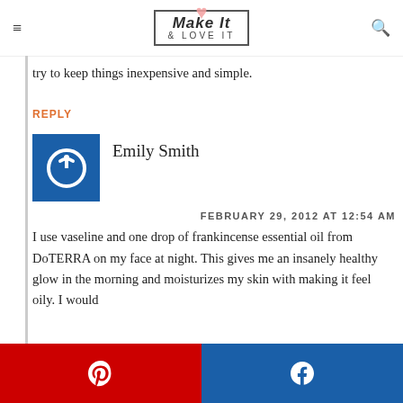Make It & LOVE IT
try to keep things inexpensive and simple.
REPLY
[Figure (logo): Blue square avatar with white power button icon]
Emily Smith
FEBRUARY 29, 2012 AT 12:54 AM
I use vaseline and one drop of frankincense essential oil from DoTERRA on my face at night. This gives me an insanely healthy glow in the morning and moisturizes my skin with making it feel oily. I would
Pinterest share | Facebook share